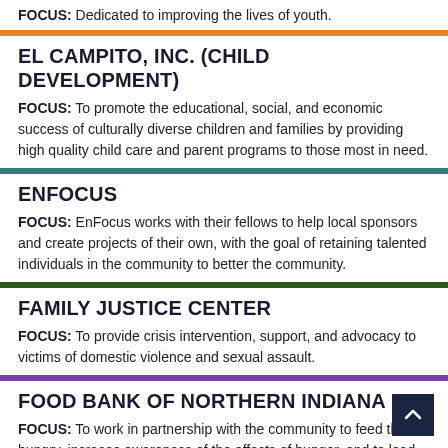FOCUS: Dedicated to improving the lives of youth.
EL CAMPITO, INC. (CHILD DEVELOPMENT)
FOCUS: To promote the educational, social, and economic success of culturally diverse children and families by providing high quality child care and parent programs to those most in need.
ENFOCUS
FOCUS: EnFocus works with their fellows to help local sponsors and create projects of their own, with the goal of retaining talented individuals in the community to better the community.
FAMILY JUSTICE CENTER
FOCUS: To provide crisis intervention, support, and advocacy to victims of domestic violence and sexual assault.
FOOD BANK OF NORTHERN INDIANA
FOCUS: To work in partnership with the community to feed the hungry, increase awareness of the effects of hunger, and to lead